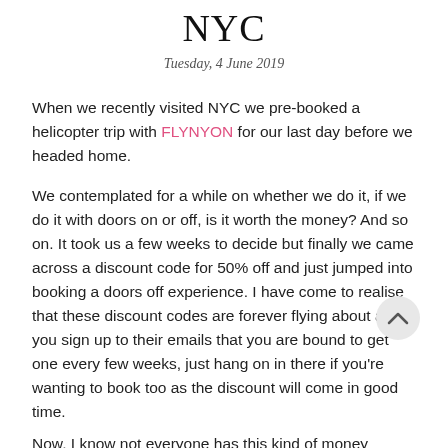NYC
Tuesday, 4 June 2019
When we recently visited NYC we pre-booked a helicopter trip with FLYNYON for our last day before we headed home.
We contemplated for a while on whether we do it, if we do it with doors on or off, is it worth the money? And so on. It took us a few weeks to decide but finally we came across a discount code for 50% off and just jumped into booking a doors off experience. I have come to realise that these discount codes are forever flying about and if you sign up to their emails that you are bound to get one every few weeks, just hang on in there if you're wanting to book too as the discount will come in good time.
Now, I know not everyone has this kind of money "spare" and that maybe it could be seen as a bit extravagant but hands down it was